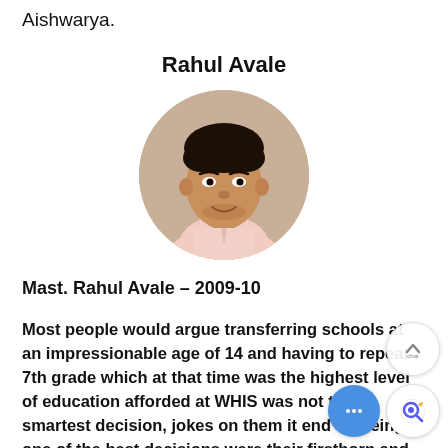Aishwarya.
Rahul Avale
[Figure (photo): Circular profile photo of a young man with dark hair, wearing a light pink traditional shirt, smiling slightly, photographed against a light background.]
Mast. Rahul Avale – 2009-10
Most people would argue transferring schools at an impressionable age of 14 and having to repeat 7th grade which at that time was the highest level of education afforded at WHIS was not the smartest decision, jokes on them it end up being one of the best decisions were their firstborn and the school wanted to do the best by us and provided